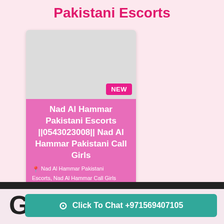Pakistani Escorts
[Figure (illustration): A listing card for Nad Al Hammar Pakistani Escorts with a gray placeholder image, a pink NEW badge, pink background card body with white bold title text and location tags]
Nad Al Hammar Pakistani Escorts ||0543023008|| Nad Al Hammar Pakistani Call Girls
📍 Nad Al Hammar Pakistani Escorts, Nad Al Hammar Call Girls
Click To Chat +971569407105